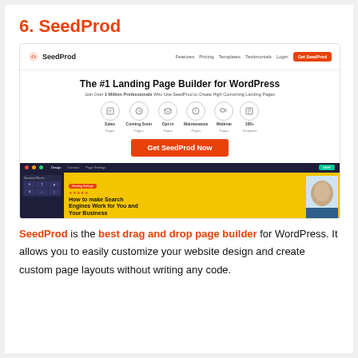6. SeedProd
[Figure (screenshot): Screenshot of SeedProd website showing navigation bar with logo, menu links (Features, Pricing, Templates, Testimonials, Login) and orange 'Get SeedProd' button. Hero section with headline 'The #1 Landing Page Builder for WordPress', subheadline 'Join Over 1 Million Professionals Who Use SeedProd to Create High Converting Landing Pages', six icon categories (Sales Pages, Coming Soon Pages, Opt-in Pages, Maintenance Pages, Webinar Pages, 100+ Templates), orange 'Get SeedProd Now' CTA button, and a builder interface screenshot showing a page being built with yellow background and SEO blog post content.]
SeedProd is the best drag and drop page builder for WordPress. It allows you to easily customize your website design and create custom page layouts without writing any code.